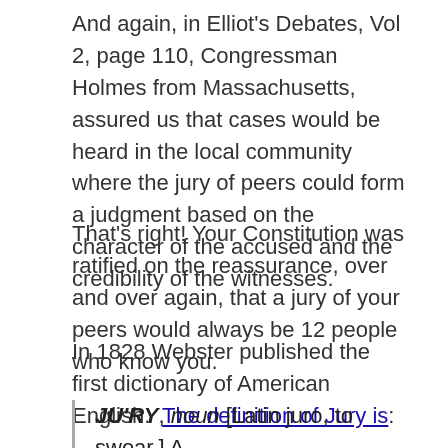And again, in Elliot's Debates, Vol 2, page 110, Congressman Holmes from Massachusetts, assured us that cases would be heard in the local community where the jury of peers could form a judgment based on the character of the accused and the credibility of the witnesses.
That's right! Your Constitution was ratified on the reassurance, over and over again, that a jury of your peers would always be 12 people who know you.
In 1828 Webster published the first dictionary of American English.  The definition of Jury is:
JU'RY, noun [Latin juro, to swear.] A